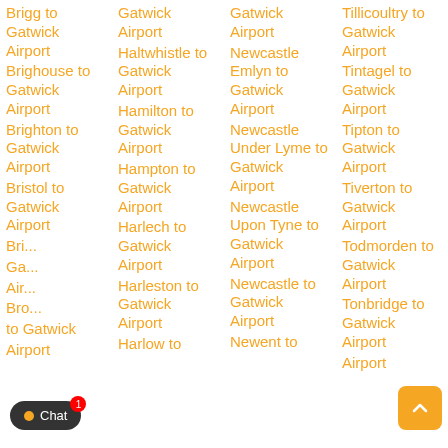Brigg to Gatwick Airport
Brighouse to Gatwick Airport
Brighton to Gatwick Airport
Bristol to Gatwick Airport
Gatwick Airport Haltwhistle to Gatwick Airport
Hamilton to Gatwick Airport
Hampton to Gatwick Airport
Harlech to Gatwick Airport
Harleston to Gatwick Airport
Harlow to
Gatwick Airport Newcastle Emlyn to Gatwick Airport
Newcastle Under Lyme to Gatwick Airport
Newcastle Upon Tyne to Gatwick Airport
Newcastle to Gatwick Airport
Newent to
Tillicoultry to Gatwick Airport
Tintagel to Gatwick Airport
Tipton to Gatwick Airport
Tiverton to Gatwick Airport
Todmorden to Gatwick Airport
Tonbridge to Gatwick Airport